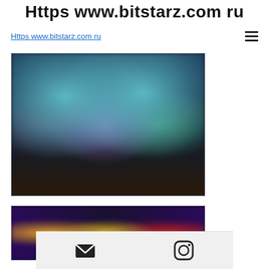Https www.bitstarz.com ru
Https www.bitstarz.com ru
[Figure (screenshot): Blurred screenshot of a casino or gaming website showing colorful animated character banners and game thumbnails on a dark background]
[Figure (screenshot): Blurred screenshot of colorful casino game thumbnails on a dark purple/blue background]
[Figure (other): Footer bar with email icon (envelope) and Instagram icon]